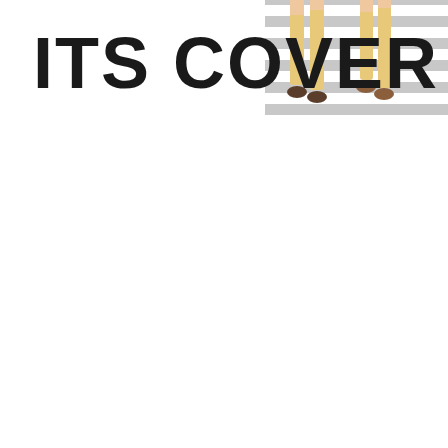[Figure (illustration): Cover image showing the text 'ITS COVER' in large bold black letters on the left, with an illustration on the right of people walking on a pedestrian crosswalk (zebra crossing) with grey and white stripes. The people are partially visible showing legs and feet, wearing yellow pants/trousers.]